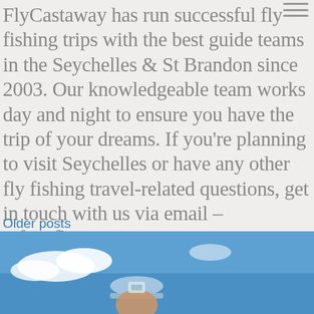FlyCastaway has run successful fly fishing trips with the best guide teams in the Seychelles & St Brandon since 2003. Our knowledgeable team works day and night to ensure you have the trip of your dreams. If you're planning to visit Seychelles or have any other fly fishing travel-related questions, get in touch with us via email – info@flycastaway.com or stay up to date with the fishing action on Facebook & Instagram.
Older posts
[Figure (other): Blue call-to-action button with text ENQUIRE NOW in white uppercase letters on a dark navy/teal background]
[Figure (photo): Bottom portion of page showing a person wearing a light blue cap against a blue sky with white clouds]